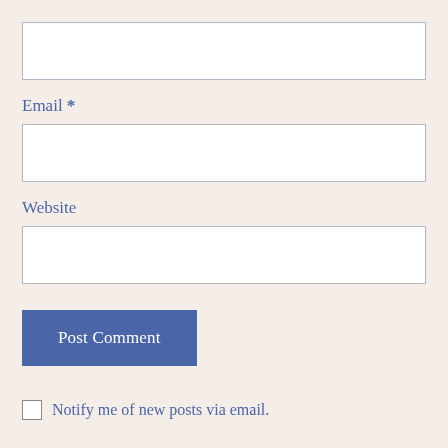[Figure (screenshot): Empty text input field (first field, no label visible, likely Name)]
Email *
[Figure (screenshot): Empty text input field for Email]
Website
[Figure (screenshot): Empty text input field for Website]
Post Comment
Notify me of new posts via email.